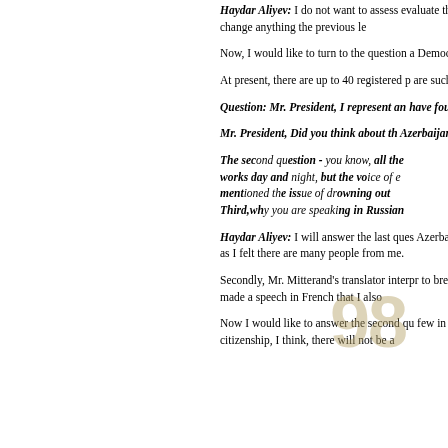Haydar Aliyev: I do not want to assess ... evaluate the results first of all. As to the iss... It did not change anything the previous le...
Now, I would like to turn to the question a... Democratic Party leaders
At present, there are up to 40 registered p... are such leaders or not. It is difficult for m...
Question: Mr. President, I represent an... have four questions to you .
Mr. President, Did you think about th... Azerbaijan?
The second question - you know, all the... works day and night, but the voice of e... mentioned the issue of drowning out ... Third,why you are speaking in Russian...
Haydar Aliyev: I will answer the last ques... Azerbaijani language. This is the state lan... first of all, as I felt there are many people... from me.
Secondly, Mr. Mitterand's translator interpr... to break the rules here. In addition, Russi... lady made a speech in French that I also...
Now I would like to answer the second qu... few in number. Most of them have never b... to get citizenship, I think, there will not be a...